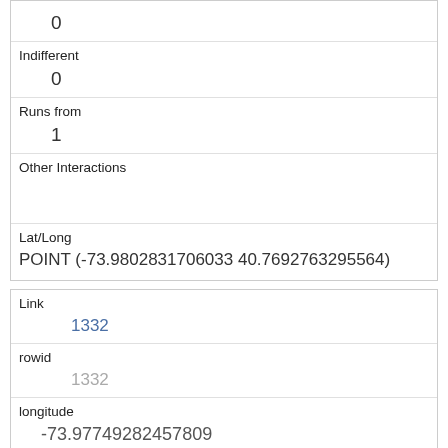| (label) | 0 |
| Indifferent | 0 |
| Runs from | 1 |
| Other Interactions |  |
| Lat/Long | POINT (-73.9802831706033 40.7692763295564) |
| Link | 1332 |
| rowid | 1332 |
| longitude | -73.97749282457809 |
| latitude | 40.7720464606979 |
| Unique Squirrel ID | 6B-AM-1012-02 |
| Hectare |  |